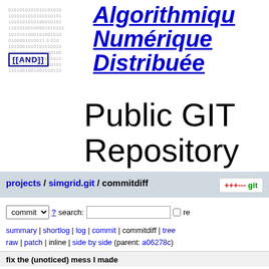[Figure (illustration): Binary digits background with [[AND]] badge overlay on left side of header]
Algorithmique Numérique Distribuée
Public GIT Repository
projects / simgrid.git / commitdiff
commit ? search: re
summary | shortlog | log | commit | commitdiff | tree raw | patch | inline | side by side (parent: a06278c)
fix the (unoticed) mess I made